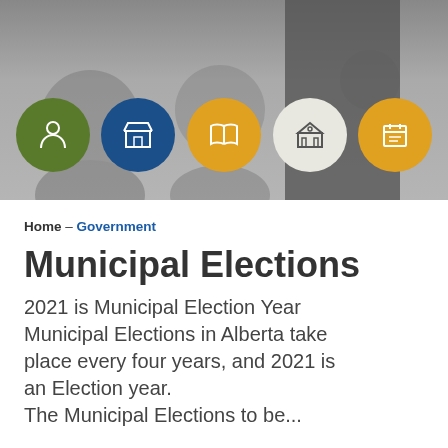[Figure (screenshot): Website header banner with blurred background photo and five circular navigation icons: green person icon, blue building/store icon, amber open book icon, white/grey government building icon, amber calendar/notepad icon. A grey panel overlays the right portion of the banner.]
Home – Government
Municipal Elections
2021 is Municipal Election Year Municipal Elections in Alberta take place every four years, and 2021 is an Election year. The Municipal Elections to be...